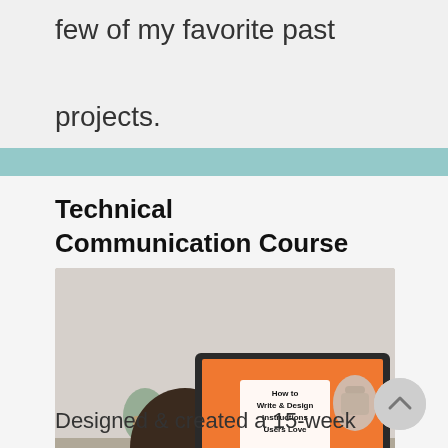few of my favorite past projects.
Technical Communication Course
[Figure (photo): Person typing on a laptop showing an orange screen with text 'How to Write & Design Instructions Users Love' and a thumbs up graphic]
Designed & created a 15-week